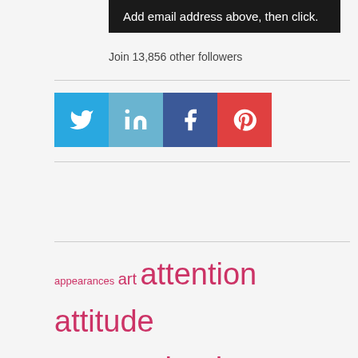[Figure (screenshot): Black button with white text: Add email address above, then click.]
Join 13,856 other followers
[Figure (infographic): Four social media icons: Twitter (blue), LinkedIn (light blue), Facebook (dark blue), Pinterest (red)]
appearances art attention attitude autism baby body books challenges Christmas climate collaboration college